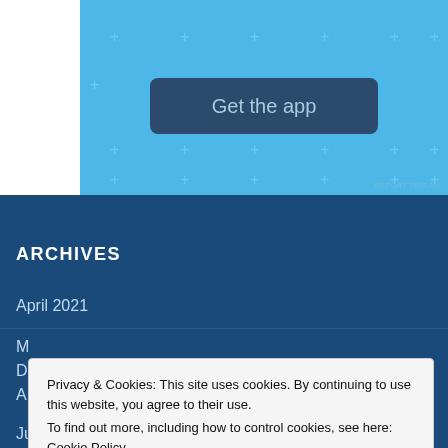[Figure (screenshot): Advertisement banner with light blue background, plus signs scattered, and a dark blue 'Get the app' button]
REPORT THIS AD
ARCHIVES
April 2021
M
D
A
June 2021
Privacy & Cookies: This site uses cookies. By continuing to use this website, you agree to their use.
To find out more, including how to control cookies, see here: Cookie Policy